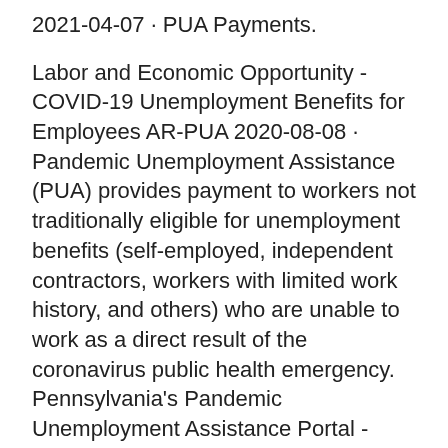2021-04-07 · PUA Payments.
Labor and Economic Opportunity - COVID-19 Unemployment Benefits for Employees AR-PUA 2020-08-08 · Pandemic Unemployment Assistance (PUA) provides payment to workers not traditionally eligible for unemployment benefits (self-employed, independent contractors, workers with limited work history, and others) who are unable to work as a direct result of the coronavirus public health emergency. Pennsylvania's Pandemic Unemployment Assistance Portal - Complete set of tools for labor market analysts in PA - PUA. Job seekers and employers access jobs, résumés, education, training, labor market information.
Petterssons restaurang käringön